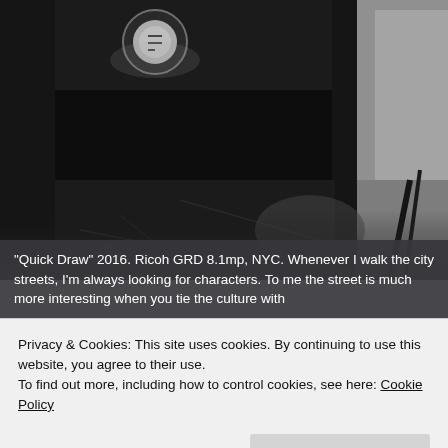[Figure (photo): Black and white street photography image showing a dark storefront entrance with a circular sign/light visible in upper left, harsh shadows on pavement, and legs/feet of people visible. Urban NYC scene.]
“Quick Draw” 2016. Ricoh GRD 8.1mp, NYC. Whenever I walk the city streets, I’m always looking for characters. To me the street is much more interesting when you tie the culture with
Privacy & Cookies: This site uses cookies. By continuing to use this website, you agree to their use.
To find out more, including how to control cookies, see here: Cookie Policy